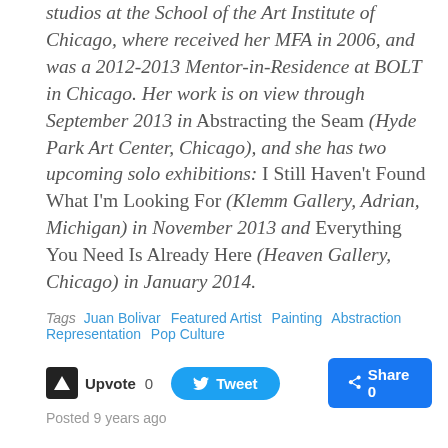studios at the School of the Art Institute of Chicago, where received her MFA in 2006, and was a 2012-2013 Mentor-in-Residence at BOLT in Chicago. Her work is on view through September 2013 in Abstracting the Seam (Hyde Park Art Center, Chicago), and she has two upcoming solo exhibitions: I Still Haven't Found What I'm Looking For (Klemm Gallery, Adrian, Michigan) in November 2013 and Everything You Need Is Already Here (Heaven Gallery, Chicago) in January 2014.
Tags  Juan Bolivar  Featured Artist  Painting  Abstraction  Representation  Pop Culture
Upvote 0  Tweet  Share 0
Posted 9 years ago